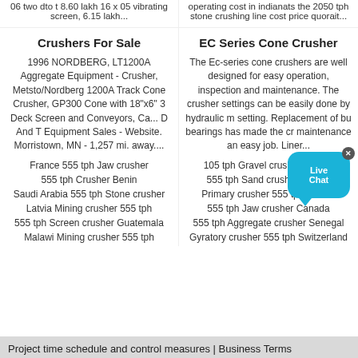06 two dto t 8.60 lakh 16 x 05 vibrating screen, 6.15 lakh...
operating cost in indianats the 2050 tph stone crushing line cost price quorait...
Crushers For Sale
EC Series Cone Crusher
1996 NORDBERG, LT1200A Aggregate Equipment - Crusher, Metsto/Nordberg 1200A Track Cone Crusher, GP300 Cone with 18"x6" 3 Deck Screen and Conveyors, Ca... D And T Equipment Sales - Website. Morristown, MN - 1,257 mi. away....
The Ec-series cone crushers are well designed for easy operation, inspection and maintenance. The crusher settings can be easily done by hydraulic motor setting. Replacement of bushings and bearings has made the crusher maintenance an easy job. Liner...
France 555 tph Jaw crusher
105 tph Gravel crusher France
555 tph Crusher Benin
555 tph Sand crusher Algeria
Saudi Arabia 555 tph Stone crusher
Primary crusher 555 tph Gabon
Latvia Mining crusher 555 tph
555 tph Jaw crusher Canada
555 tph Screen crusher Guatemala
555 tph Aggregate crusher Senegal
Malawi Mining crusher 555 tph
Gyratory crusher 555 tph Switzerland
Project time schedule and control measures | Business Terms